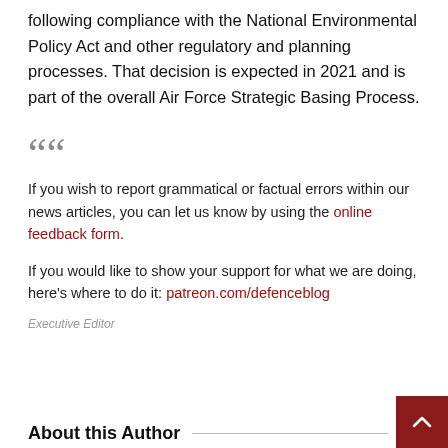following compliance with the National Environmental Policy Act and other regulatory and planning processes. That decision is expected in 2021 and is part of the overall Air Force Strategic Basing Process.
If you wish to report grammatical or factual errors within our news articles, you can let us know by using the online feedback form.
If you would like to show your support for what we are doing, here's where to do it: patreon.com/defenceblog
Executive Editor
About this Author